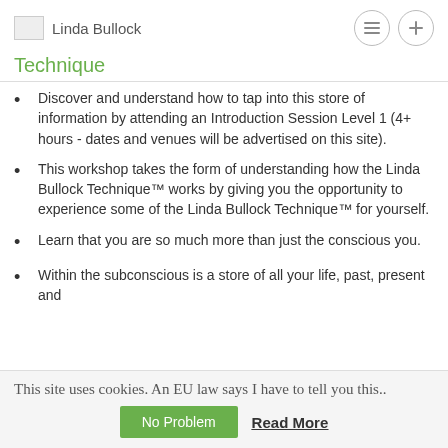Linda Bullock
Technique
Discover and understand how to tap into this store of information by attending an Introduction Session Level 1 (4+ hours - dates and venues will be advertised on this site).
This workshop takes the form of understanding how the Linda Bullock Technique™ works by giving you the opportunity to experience some of the Linda Bullock Technique™ for yourself.
Learn that you are so much more than just the conscious you.
Within the subconscious is a store of all your life, past, present and
This site uses cookies. An EU law says I have to tell you this..
No Problem   Read More